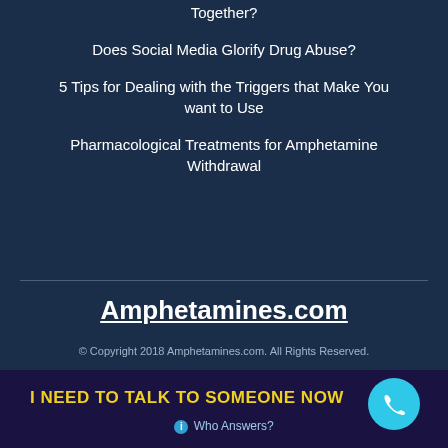Together?
Does Social Media Glorify Drug Abuse?
5 Tips for Dealing with the Triggers that Make You want to Use
Pharmacological Treatments for Amphetamine Withdrawal
Amphetamines.com
© Copyright 2018 Amphetamines.com. All Rights Reserved.
I NEED TO TALK TO SOMEONE NOW
Who Answers?